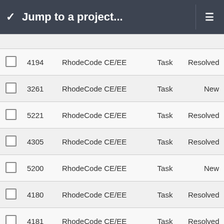Jump to a project...
|  | ID | Project | Type | Status |
| --- | --- | --- | --- | --- |
|  | 4194 | RhodeCode CE/EE | Task | Resolved |
|  | 3261 | RhodeCode CE/EE | Task | New |
|  | 5221 | RhodeCode CE/EE | Task | Resolved |
|  | 4305 | RhodeCode CE/EE | Task | Resolved |
|  | 5200 | RhodeCode CE/EE | Task | New |
|  | 4180 | RhodeCode CE/EE | Task | Resolved |
|  | 4181 | RhodeCode CE/EE | Task | Resolved |